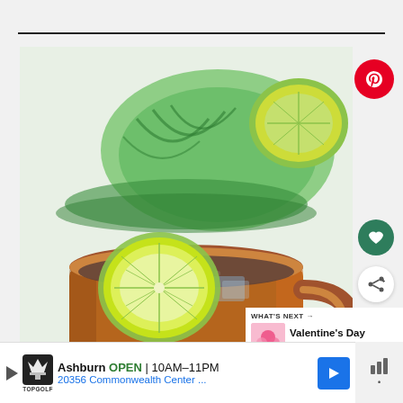[Figure (photo): A Moscow Mule cocktail in a copper mug with a lime slice, and a green citrus juicer with a halved lime in the background, on a white surface.]
WHAT'S NEXT → Valentine's Day Cocktails
Ashburn OPEN 10AM–11PM 20356 Commonwealth Center ...